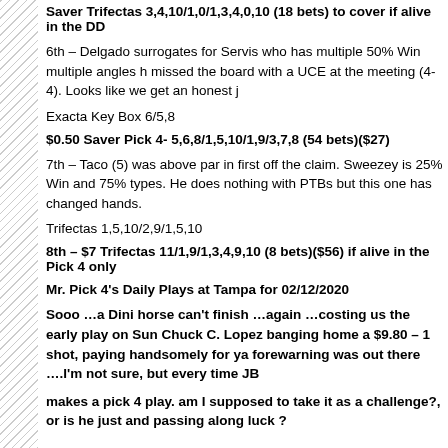Saver Trifectas 3,4,10/1,0/1,3,4,0,10 (18 bets) to cover if alive in the DD
6th – Delgado surrogates for Servis who has multiple 50% Win multiple angles h missed the board with a UCE at the meeting (4-4). Looks like we get an honest j
Exacta Key Box 6/5,8
$0.50 Saver Pick 4- 5,6,8/1,5,10/1,9/3,7,8 (54 bets)($27)
7th – Taco (5) was above par in first off the claim. Sweezey is 25% Win and 75% types. He does nothing with PTBs but this one has changed hands.
Trifectas 1,5,10/2,9/1,5,10
8th – $7 Trifectas 11/1,9/1,3,4,9,10 (8 bets)($56) if alive in the Pick 4 only
Mr. Pick 4's Daily Plays at Tampa for 02/12/2020
Sooo …a Dini horse can't finish …again …costing us the early play on Sun Chuck C. Lopez banging home a $9.80 – 1 shot, paying handsomely for ya forewarning was out there ….I'm not sure, but every time JB
makes a pick 4 play. am I supposed to take it as a challenge?, or is he just and passing along luck ?